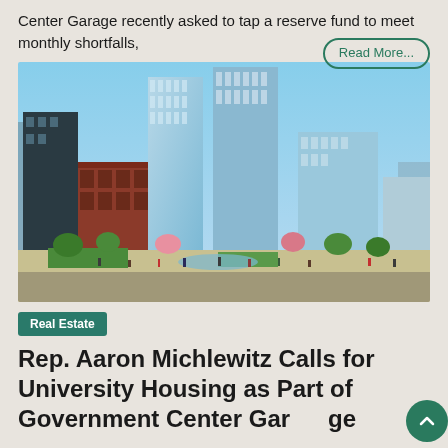Center Garage recently asked to tap a reserve fund to meet monthly shortfalls,
[Figure (illustration): Architectural rendering of a urban development with tall glass skyscrapers, historic red brick buildings, a public plaza with fountains, trees, and crowds of people walking.]
Real Estate
Rep. Aaron Michlewitz Calls for University Housing as Part of Government Center Garage